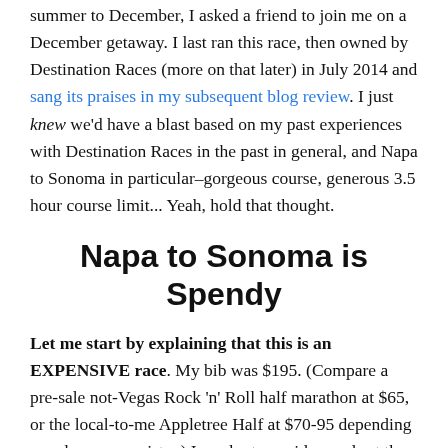summer to December, I asked a friend to join me on a December getaway. I last ran this race, then owned by Destination Races (more on that later) in July 2014 and sang its praises in my subsequent blog review. I just knew we'd have a blast based on my past experiences with Destination Races in the past in general, and Napa to Sonoma in particular–gorgeous course, generous 3.5 hour course limit... Yeah, hold that thought.
Napa to Sonoma is Spendy
Let me start by explaining that this is an EXPENSIVE race. My bib was $195. (Compare a pre-sale not-Vegas Rock 'n' Roll half marathon at $65, or the local-to-me Appletree Half at $70-95 depending on when you register.) In order to avoid crowds at the Saturday packet pickup, I also opted to pay $25 to have my bib and